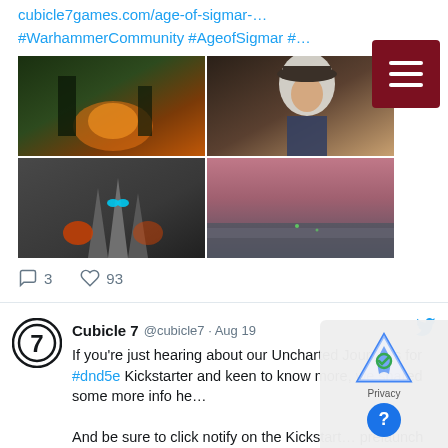cubicle7games.com/age-of-sigmar-…
#WarhammerCommunity #AgeofSigmar #…
[Figure (photo): 2x2 grid of four game art images: top-left shows dark fantasy scene with orange/fire tones, top-right shows a female character with white hair and armor, bottom-left shows a stone/tree monster with glowing blue eyes, bottom-right shows a misty landscape with pink hues]
3   93
Cubicle 7 @cubicle7 · Aug 19
If you're just hearing about our Uncharted Journeys for #dnd5e Kickstarter and keen to know more, we shared some more info he…

And be sure to click notify on the Kickstart… prelaunch page so you don't miss the release!